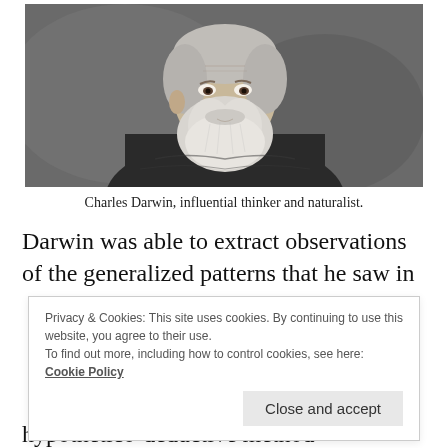[Figure (photo): Black and white engraved portrait of Charles Darwin, an elderly man with a large white beard, facing slightly left, wearing a dark coat, against a dark background.]
Charles Darwin, influential thinker and naturalist.
Darwin was able to extract observations of the generalized patterns that he saw in
Privacy & Cookies: This site uses cookies. By continuing to use this website, you agree to their use.
To find out more, including how to control cookies, see here:
Cookie Policy
Close and accept
hypothetico-deductive method